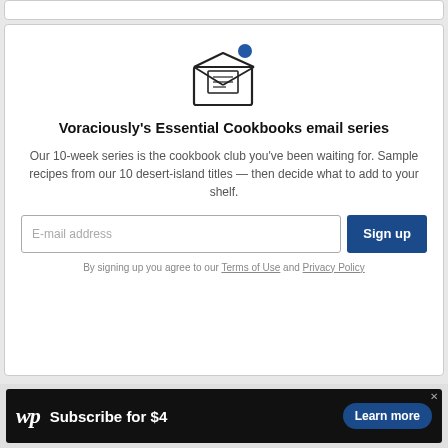[Figure (illustration): Envelope icon with an open flap showing a letter inside, and a blue notification dot in the top right corner]
Voraciously's Essential Cookbooks email series
Our 10-week series is the cookbook club you've been waiting for. Sample recipes from our 10 desert-island titles — then decide what to add to your shelf.
E-mail address [input field] Sign up
By signing up you agree to our Terms of Use and Privacy Policy
[Figure (advertisement): Washington Post advertisement banner: WP logo, 'Subscribe for $4', 'Learn more' button in dark blue pill shape, close X button]